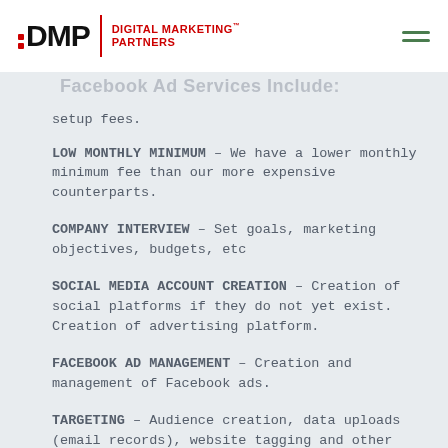DMP Digital Marketing Partners
setup fees.
LOW MONTHLY MINIMUM – We have a lower monthly minimum fee than our more expensive counterparts.
COMPANY INTERVIEW – Set goals, marketing objectives, budgets, etc
SOCIAL MEDIA ACCOUNT CREATION – Creation of social platforms if they do not yet exist. Creation of advertising platform.
FACEBOOK AD MANAGEMENT – Creation and management of Facebook ads.
TARGETING – Audience creation, data uploads (email records), website tagging and other setup.
MONTHLY REPORTING – Scheduled monthly